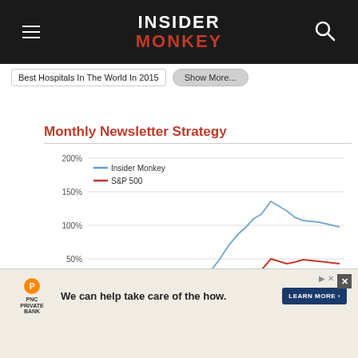INSIDER MONKEY
Best Hospitals In The World In 2015  Show More...
[Figure (line-chart): Monthly Newsletter Strategy]
We can help take care of the how.